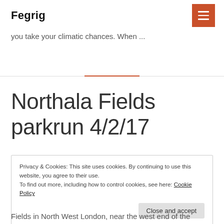Fegrig
you take your climatic chances. When ...
Northala Fields parkrun 4/2/17
Privacy & Cookies: This site uses cookies. By continuing to use this website, you agree to their use. To find out more, including how to control cookies, see here: Cookie Policy
Fields in North West London, near the west end of the